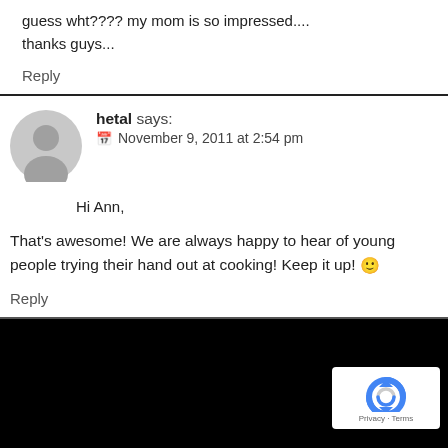guess wht???? my mom is so impressed.... thanks guys...
Reply
hetal says: November 9, 2011 at 2:54 pm
Hi Ann,
That's awesome! We are always happy to hear of young people trying their hand out at cooking! Keep it up! 🙂
Reply
[Figure (logo): Google reCAPTCHA logo with Privacy and Terms text]